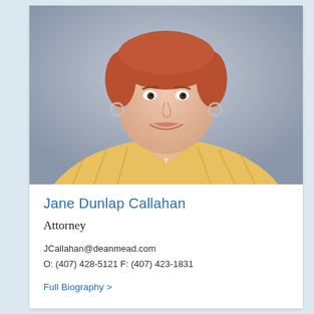[Figure (photo): Professional headshot of Jane Dunlap Callahan, a woman with short auburn hair, wearing small hoop earrings and a yellow/gold plaid blazer, smiling, against a grey studio background.]
Jane Dunlap Callahan
Attorney
JCallahan@deanmead.com
O: (407) 428-5121 F: (407) 423-1831
Full Biography >